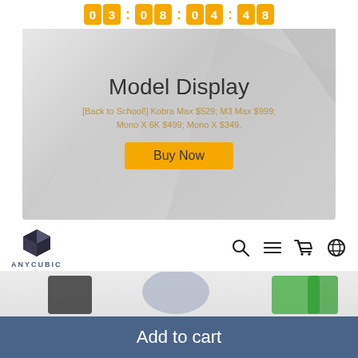[Figure (screenshot): Countdown timer with flip digits showing 03 08 04 48 in orange tiles]
[Figure (screenshot): Promotional banner for Anycubic 3D printers Back to School sale with Model Display heading and Buy Now button]
Model Display
[Back to School!] Kobra Max $529; M3 Max $999; Mono X 6K $499; Mono X $349.
[Figure (screenshot): Anycubic logo with cube icon and navigation icons (search, menu, cart, globe)]
[Figure (photo): 3D printed models: dark cloaked figure, grey muscular figure/tree, grey bust, green translucent armored figures on white surface]
Add to cart